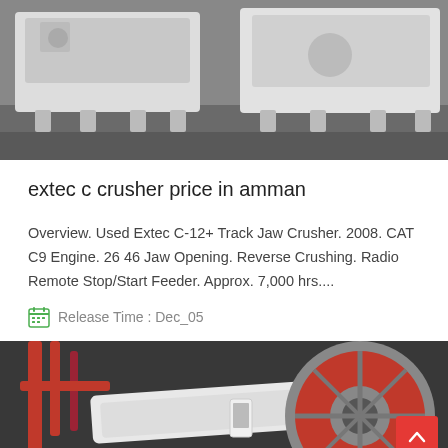[Figure (photo): Industrial jaw crusher machines, white/grey colored, on a concrete floor]
extec c crusher price in amman
Overview. Used Extec C-12+ Track Jaw Crusher. 2008. CAT C9 Engine. 26 46 Jaw Opening. Reverse Crushing. Radio Remote Stop/Start Feeder. Approx. 7,000 hrs....
Release Time : Dec_05
[Figure (photo): Industrial crusher machinery with red pipes and large wheel/disc components in a factory setting]
Leave Message
Chat Online